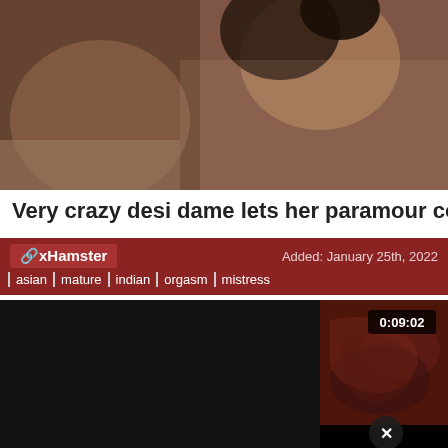[Figure (photo): Video thumbnail showing persons, dark/warm toned image]
Very crazy desi dame lets her paramour come inw...
xHamster | Added: January 25th, 2022 | Tags: asian, mature, indian, orgasm, mistress
[Figure (screenshot): Video player showing dark video frame with decorative cloth visible and timestamp 0:09:02, with close X button at bottom right]